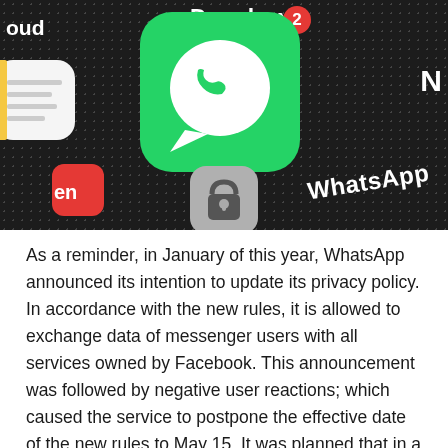[Figure (photo): Close-up photo of a smartphone screen showing app icons on a dark dotted background. The WhatsApp icon (green with white phone/chat bubble) is prominent in the center with a Dropbox icon above and to the right showing a notification badge of '2'. Partially visible icons include iCloud on the left, and other app icons at the bottom. The label 'WhatsApp' is visible in white text on the screen.]
As a reminder, in January of this year, WhatsApp announced its intention to update its privacy policy. In accordance with the new rules, it is allowed to exchange data of messenger users with all services owned by Facebook. This announcement was followed by negative user reactions; which caused the service to postpone the effective date of the new rules to May 15. It was planned that in a few months the developers will be able to convince WhatsApp users to agree to the changes.
"We've spent the last few months communicating directly with users about our update," a spokesperson told WIRED in